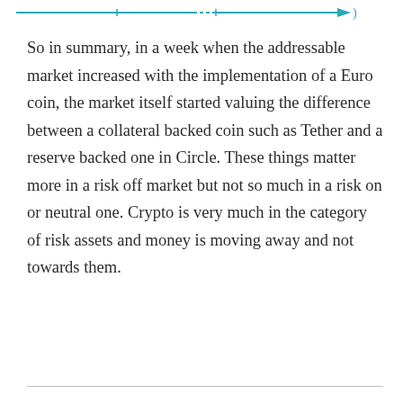[Figure (other): Partial decorative arrow/line graphic at the top of the page, teal/blue colored]
So in summary, in a week when the addressable market increased with the implementation of a Euro coin, the market itself started valuing the difference between a collateral backed coin such as Tether and a reserve backed one in Circle. These things matter more in a risk off market but not so much in a risk on or neutral one. Crypto is very much in the category of risk assets and money is moving away and not towards them.